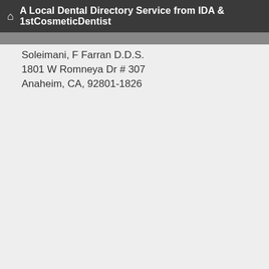A Local Dental Directory Service from IDA & 1stCosmeticDentist
Soleimani, F Farran D.D.S.
1801 W Romneya Dr # 307
Anaheim, CA, 92801-1826